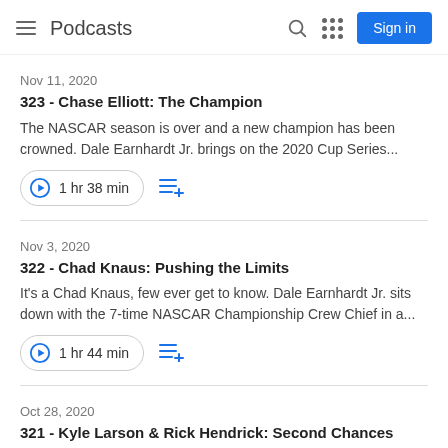Podcasts
Nov 11, 2020
323 - Chase Elliott: The Champion
The NASCAR season is over and a new champion has been crowned. Dale Earnhardt Jr. brings on the 2020 Cup Series...
1 hr 38 min
Nov 3, 2020
322 - Chad Knaus: Pushing the Limits
It's a Chad Knaus, few ever get to know. Dale Earnhardt Jr. sits down with the 7-time NASCAR Championship Crew Chief in a...
1 hr 44 min
Oct 28, 2020
321 - Kyle Larson & Rick Hendrick: Second Chances
In a Dale Jr. Download exclusive, we sit down with Kyle Larson